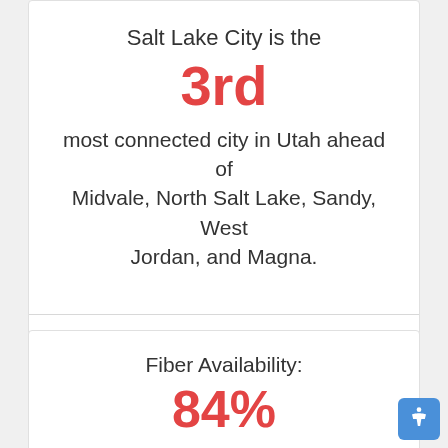Salt Lake City is the 3rd most connected city in Utah ahead of Midvale, North Salt Lake, Sandy, West Jordan, and Magna.
Reference
Fiber Availability: 84% of people living in Salt Lake City have